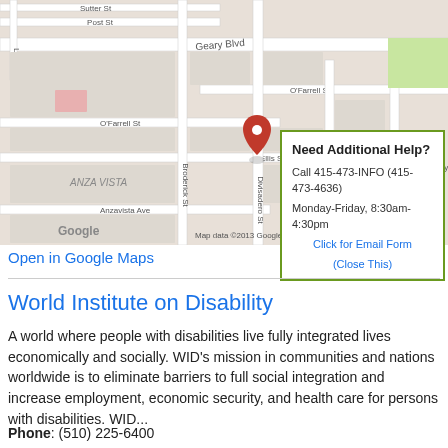[Figure (map): Google Maps screenshot showing a street map of the Anza Vista neighborhood in San Francisco, with streets including Geary Blvd, O'Farrell St, Ellis St, Broderick St, Divisadero St, Scott St, Pierce St, Post St, Sutter St, Lyon St, Eddy St, Anzavista Ave. A red map pin marker is visible on the map. A popup box overlay reads: 'Need Additional Help? Call 415-473-INFO (415-473-4636) Monday-Friday, 8:30am-4:30pm Click for Email Form (Close This)'. Map data copyright 2013 Google.]
Open in Google Maps
World Institute on Disability
A world where people with disabilities live fully integrated lives economically and socially. WID's mission in communities and nations worldwide is to eliminate barriers to full social integration and increase employment, economic security, and health care for persons with disabilities. WID...
Phone: (510) 225-6400